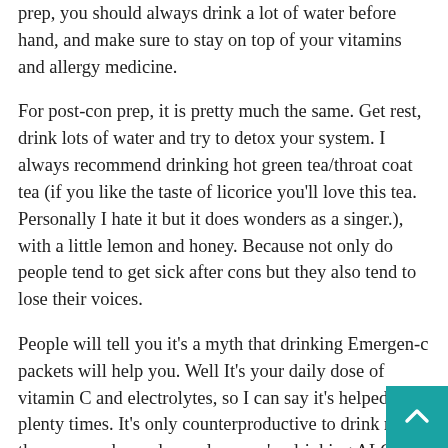prep, you should always drink a lot of water before hand, and make sure to stay on top of your vitamins and allergy medicine.
For post-con prep, it is pretty much the same. Get rest, drink lots of water and try to detox your system. I always recommend drinking hot green tea/throat coat tea (if you like the taste of licorice you'll love this tea. Personally I hate it but it does wonders as a singer.), with a little lemon and honey. Because not only do people tend to get sick after cons but they also tend to lose their voices.
People will tell you it's a myth that drinking Emergen-c packets will help you. Well It's your daily dose of vitamin C and electrolytes, so I can say it's helped me plenty times. It's only counterproductive to drink more than one pack per day, unless you're drinking ALOT of water. Since vitamin C is a water salable vitamin, you can take more than the 1,000 mg dosage, just as long as you're drinking a ton of water